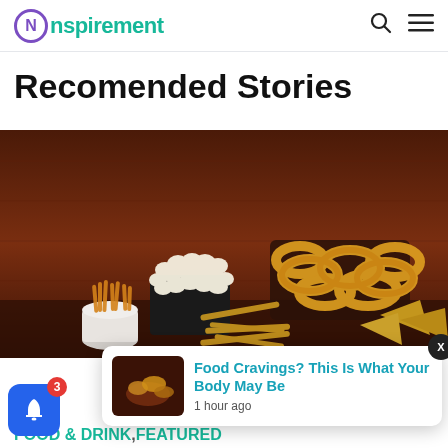Nspirement
Recomended Stories
[Figure (photo): Various snack foods including popcorn, onion rings, cheese puffs, pretzel sticks, and chips arranged on a dark wooden surface]
[Figure (screenshot): Notification popup with thumbnail image and text: Food Cravings? This Is What Your Body May Be — 1 hour ago]
FOOD & DRINK, FEATURED